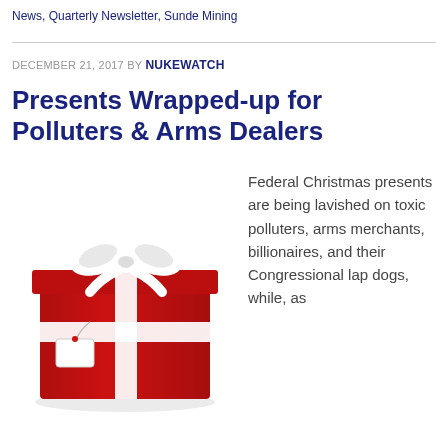News, Quarterly Newsletter, Sunde Mining
DECEMBER 21, 2017 BY NUKEWATCH
Presents Wrapped-up for Polluters & Arms Dealers
[Figure (photo): Red Christmas gift box with white ribbon and bow, and a white gift tag with red dot]
Federal Christmas presents are being lavished on toxic polluters, arms merchants, billionaires, and their Congressional lap dogs, while, as